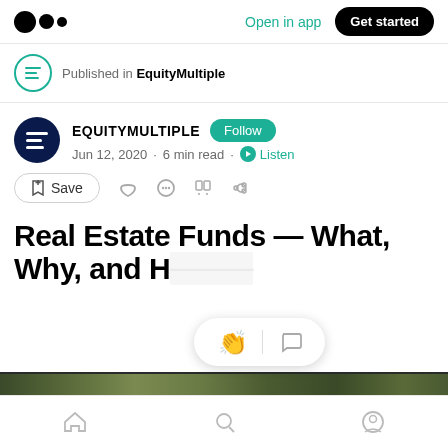Open in app  Get started
Published in EquityMultiple
EQUITYMULTIPLE  Follow
Jun 12, 2020 · 6 min read · Listen
Save
Real Estate Funds — What, Why, and H
[Figure (screenshot): Floating popup with clapping and comment icons over article content]
[Figure (photo): Green foliage image strip at bottom of article]
Home  Search  Profile